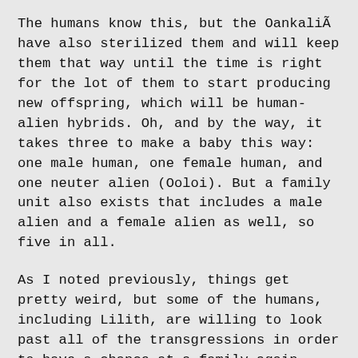The humans know this, but the Oankali have also sterilized them and will keep them that way until the time is right for the lot of them to start producing new offspring, which will be human-alien hybrids. Oh, and by the way, it takes three to make a baby this way: one male human, one female human, and one neuter alien (Ooloi). But a family unit also exists that includes a male alien and a female alien as well, so five in all.
As I noted previously, things get pretty weird, but some of the humans, including Lilith, are willing to look past all of the transgressions in order to have a chance at a family again, something most humans did not expect to have considering that they had been trying to survive a nuclear holocaust when the alien’s arrived.
And that nuclear holocaust is a huge point of contention for the...